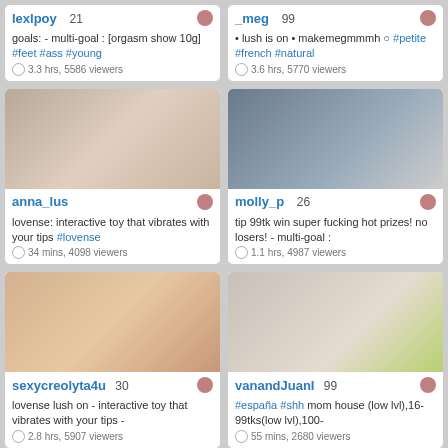[Figure (screenshot): Grid of 6 streaming profile cards: lexIpoy (21), _meg (99), anna_lus, molly_p (26), sexycreolyta4u (30), vanandJuanI (99)]
lexIpoy 21 | goals: - multi-goal : [orgasm show 10g] #feet #ass #young | 3.3 hrs, 5586 viewers
_meg 99 | • lush is on • makemegmmmh ○ #petite #french #natural | 3.6 hrs, 5770 viewers
anna_lus | lovense: interactive toy that vibrates with your tips #lovense | 34 mins, 4098 viewers
molly_p 26 | tip 99tk win super fucking hot prizes! no losers! - multi-goal : | 1.1 hrs, 4987 viewers
sexycreolyta4u 30 | lovense lush on - interactive toy that vibrates with your tips - | 2.8 hrs, 5907 viewers
vanandJuanI 99 | #españa #shh mom house (low lvl),16-99tks(low lvl),100- | 55 mins, 2680 viewers